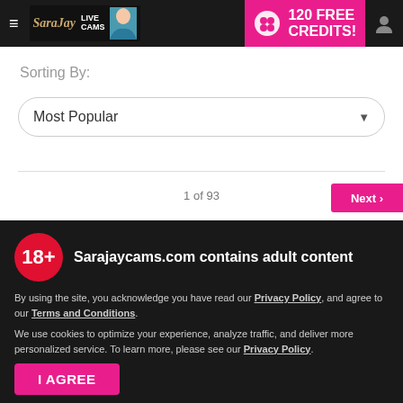≡ SaraJay LIVE CAMS | 120 FREE CREDITS!
Sorting By:
Most Popular
1 of 93
Sarajaycams.com contains adult content
By using the site, you acknowledge you have read our Privacy Policy, and agree to our Terms and Conditions.
We use cookies to optimize your experience, analyze traffic, and deliver more personalized service. To learn more, please see our Privacy Policy.
I AGREE